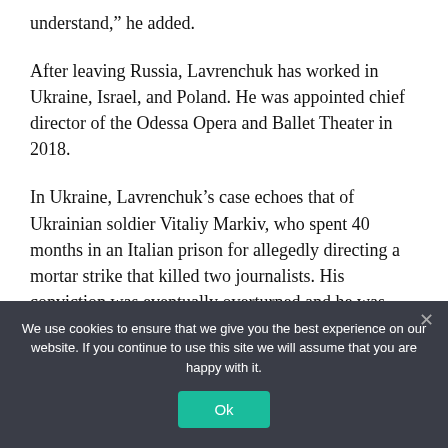understand,” he added.
After leaving Russia, Lavrenchuk has worked in Ukraine, Israel, and Poland. He was appointed chief director of the Odessa Opera and Ballet Theater in 2018.
In Ukraine, Lavrenchuk’s case echoes that of Ukrainian soldier Vitaliy Markiv, who spent 40 months in an Italian prison for allegedly directing a mortar strike that killed two journalists. His conviction was eventually overturned and he was
We use cookies to ensure that we give you the best experience on our website. If you continue to use this site we will assume that you are happy with it.